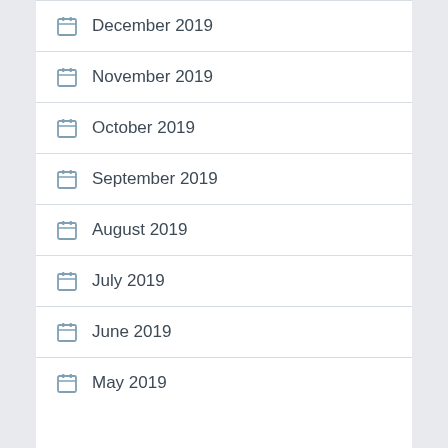December 2019
November 2019
October 2019
September 2019
August 2019
July 2019
June 2019
May 2019